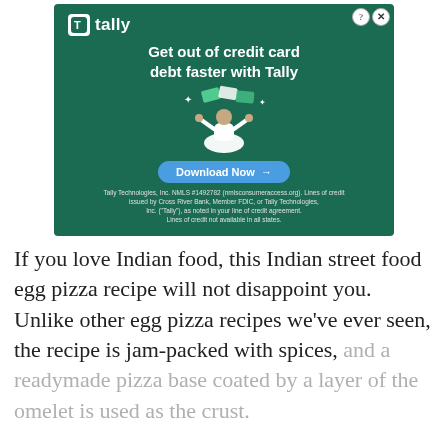[Figure (advertisement): Tally app advertisement on dark green background. Shows Tally logo at top left, headline 'Get out of credit card debt faster with Tally', illustration of person meditating with credit cards floating around them, a 'Download Now' button in blue, and legal disclaimer text at the bottom.]
If you love Indian food, this Indian street food egg pizza recipe will not disappoint you. Unlike other egg pizza recipes we've ever seen, the recipe is jam-packed with spices, and a readymade pizza base coated by a layer of the omelet is used as the crust.